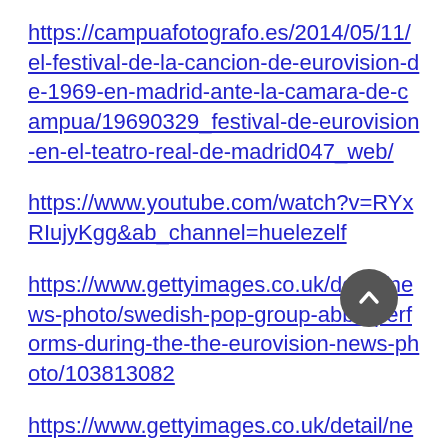https://campuafotografo.es/2014/05/11/el-festival-de-la-cancion-de-eurovision-de-1969-en-madrid-ante-la-camara-de-campua/19690329_festival-de-eurovision-en-el-teatro-real-de-madrid047_web/
https://www.youtube.com/watch?v=RYxRIujyKgg&ab_channel=huelezelf
https://www.gettyimages.co.uk/detail/news-photo/swedish-pop-group-abba-performs-during-the-the-eurovision-news-photo/103813082
https://www.gettyimages.co.uk/detail/news-